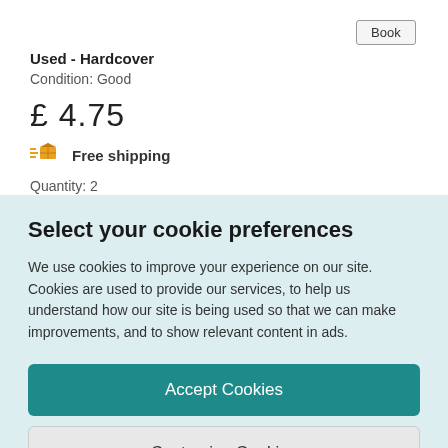Book
Used - Hardcover
Condition: Good
£ 4.75
Free shipping
Quantity: 2
Select your cookie preferences
We use cookies to improve your experience on our site. Cookies are used to provide our services, to help us understand how our site is being used so that we can make improvements, and to show relevant content in ads.
Accept Cookies
Customise Cookies